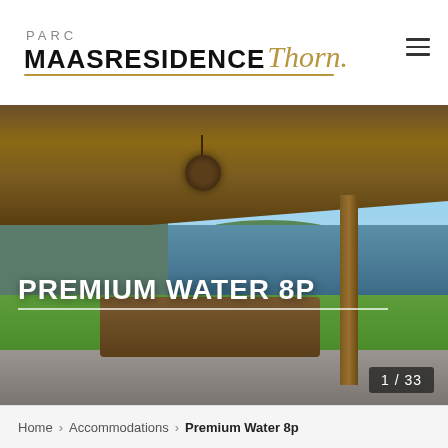[Figure (logo): Parc Maasresidence Thorn logo with PARC text in grey, MAASRESIDENCE in bold black, Thorn in gold italic script, with gold underline]
[Figure (photo): Outdoor covered patio/terrace of a premium water villa with wooden beam ceiling, hanging rattan pendant light, dining table with chairs, view of lawn and lake in background, blue sky]
PREMIUM WATER 8P
1 / 33
Home > Accommodations > Premium Water 8p